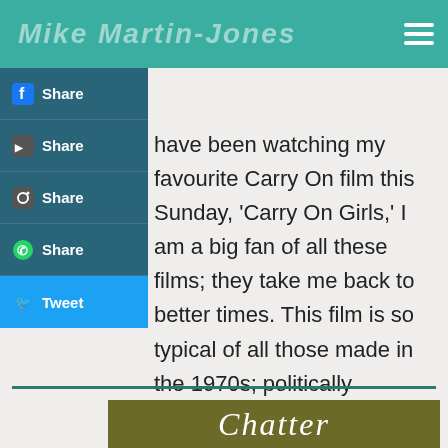Mike Martin-Jones
[Figure (screenshot): Social media share buttons: Facebook Share, YouTube Share, Instagram Share, WhatsApp Share, Twitter Tweet]
...have been watching my favourite Carry On film this Sunday, 'Carry On Girls,' ...I am a big fan of all these films; they take me back to better times. This film is so typical of all those made in the 1970s; politically incorrect and extremely funny. What we see as wrong today, was perfectly acceptable then; a period of time, I look back on with fondness! ”
[Figure (photo): Bottom image showing text 'Chatter' on an olive/dark yellow background]